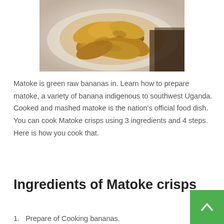[Figure (photo): A plate of golden-brown fried matoke (plantain) crisps piled on a white plate, photographed from above at an angle.]
Matoke is green raw bananas in. Learn how to prepare matoke, a variety of banana indigenous to southwest Uganda. Cooked and mashed matoke is the nation's official food dish. You can cook Matoke crisps using 3 ingredients and 4 steps. Here is how you cook that.
Ingredients of Matoke crisps
1.   Prepare of Cooking bananas.